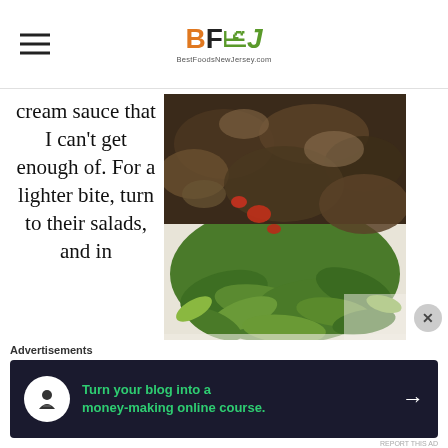BFN J - BestFoodsNewJersey.com
cream sauce that I can't get enough of. For a lighter bite, turn to their salads, and in particular, the pollo caldo (warm chicken) which is served with shiitake mushrooms and sun dried tomatoes over arugula. This dish is fitting for the month of March, as the
[Figure (photo): Close-up photo of a salad with arugula greens, shiitake mushrooms, and sun dried tomatoes on a plate]
Advertisements
[Figure (infographic): Dark advertisement banner: Turn your blog into a money-making online course. with arrow icon]